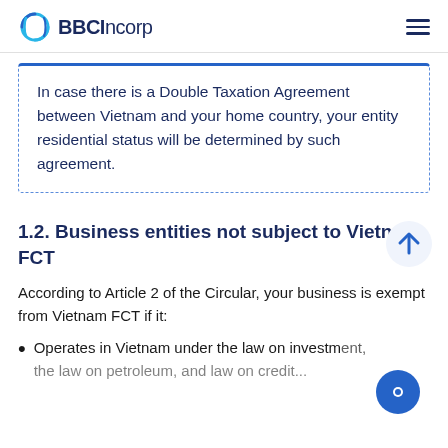BBCIncorp
In case there is a Double Taxation Agreement between Vietnam and your home country, your entity residential status will be determined by such agreement.
1.2. Business entities not subject to Vietnam FCT
According to Article 2 of the Circular, your business is exempt from Vietnam FCT if it:
Operates in Vietnam under the law on investment, the law on petroleum, and law on credit...